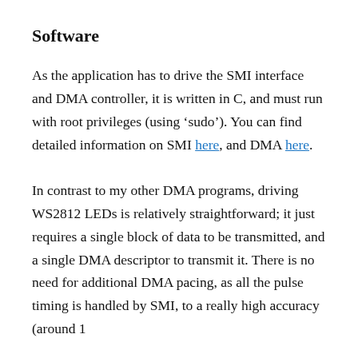Software
As the application has to drive the SMI interface and DMA controller, it is written in C, and must run with root privileges (using ‘sudo’). You can find detailed information on SMI here, and DMA here.
In contrast to my other DMA programs, driving WS2812 LEDs is relatively straightforward; it just requires a single block of data to be transmitted, and a single DMA descriptor to transmit it. There is no need for additional DMA pacing, as all the pulse timing is handled by SMI, to a really high accuracy (around 1